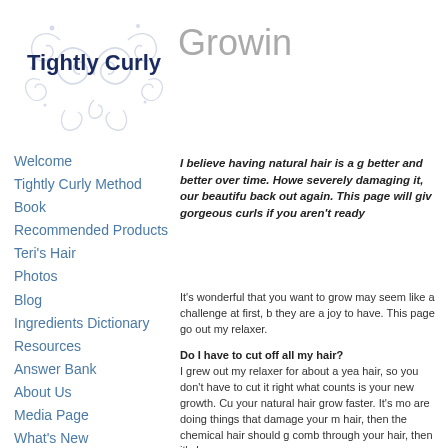[Figure (logo): Tightly Curly logo with decorative swirl/curl designs in light blue/lavender and bold dark navy text reading 'Tightly Curly']
Growin
Welcome
Tightly Curly Method
Book
Recommended Products
Teri's Hair
Photos
Blog
Ingredients Dictionary
Resources
Answer Bank
About Us
Media Page
What's New
I believe having natural hair is a g better and better over time. Howe severely damaging it, our beautifu back out again. This page will giv gorgeous curls if you aren't ready
It's wonderful that you want to grow may seem like a challenge at first, b they are a joy to have. This page go out my relaxer.
Do I have to cut off all my hair?
I grew out my relaxer for about a yea hair, so you don't have to cut it right what counts is your new growth. Cu your natural hair grow faster. It's mo are doing things that damage your m hair, then the chemical hair should g comb through your hair, then it's bes